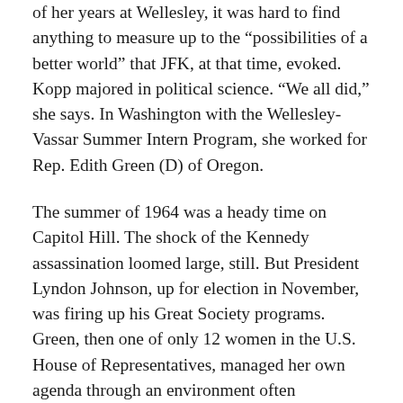of her years at Wellesley, it was hard to find anything to measure up to the “possibilities of a better world” that JFK, at that time, evoked. Kopp majored in political science. “We all did,” she says. In Washington with the Wellesley-Vassar Summer Intern Program, she worked for Rep. Edith Green (D) of Oregon.
The summer of 1964 was a heady time on Capitol Hill. The shock of the Kennedy assassination loomed large, still. But President Lyndon Johnson, up for election in November, was firing up his Great Society programs. Green, then one of only 12 women in the U.S. House of Representatives, managed her own agenda through an environment often dismissive of women, including the 1963 Equal Pay Act, two historic higher-education laws, and Title IX, a game changer, literally, for women